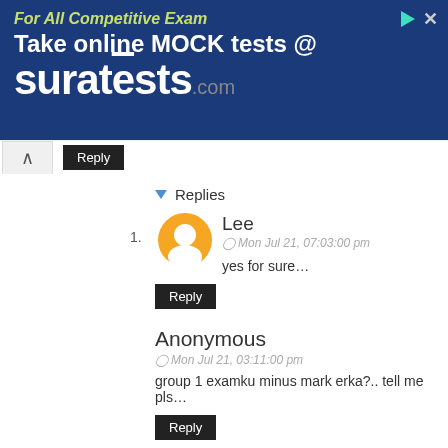[Figure (screenshot): Advertisement banner for suratests.com: dark blue background, text 'For All Competitive Exam Take online MOCK tests @ suratests.com']
Reply
Replies
1. Lee
Mon Jul 21, 07:03:00 pm
yes for sure...
Reply
Anonymous
Mon Jul 21, 03:11:00 pm
group 1 examku minus mark erka?.. tell me pls...
Reply
Replies
1. Unknown
Mon Jul 21, 05:46:00 pm